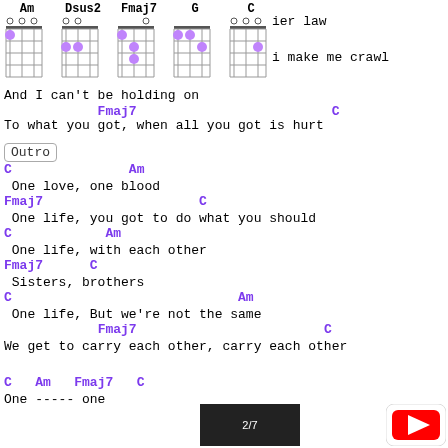[Figure (illustration): Ukulele chord diagrams for Am, Dsus2, Fmaj7, G, C chords shown as grid diagrams with finger positions marked as purple circles]
And I can't be holding on
Fmaj7                         C
To what you got, when all you got is hurt
Outro
C               Am
 One love, one blood
Fmaj7                    C
 One life, you got to do what you should
C            Am
 One life, with each other
Fmaj7      C
 Sisters, brothers
C                             Am
 One life, But we're not the same
Fmaj7                        C
We get to carry each other, carry each other
C   Am   Fmaj7   C
One ----- one
[Figure (screenshot): YouTube video thumbnail partially visible at bottom right]